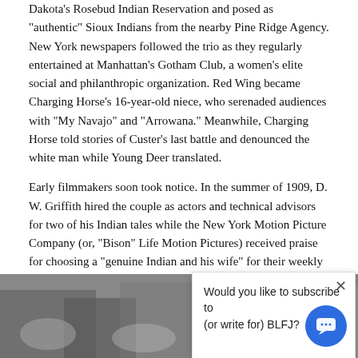Dakota's Rosebud Indian Reservation and posed as "authentic" Sioux Indians from the nearby Pine Ridge Agency. New York newspapers followed the trio as they regularly entertained at Manhattan's Gotham Club, a women's elite social and philanthropic organization. Red Wing became Charging Horse's 16-year-old niece, who serenaded audiences with "My Navajo" and "Arrowana." Meanwhile, Charging Horse told stories of Custer's last battle and denounced the white man while Young Deer translated.
Early filmmakers soon took notice. In the summer of 1909, D. W. Griffith hired the couple as actors and technical advisors for two of his Indian tales while the New York Motion Picture Company (or, "Bison" Life Motion Pictures) received praise for choosing a "genuine Indian and his wife" for their weekly staple of one-reel Westerns. In November 1909. Bison headed to sunny Los Ang... players including Young Deer a... labeled the pair as "perfect type... genuine Indians" apparently n... Balshofer at the helm of Bison's ... movies actually named after their characters, Young Deer and Red Wing.
[Figure (photo): Black and white historical photograph showing a group of people. Handwritten text visible reading 'Young Deer' in the upper right area.]